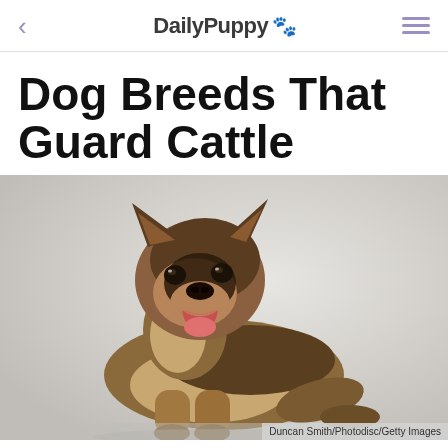DailyPuppy 🐾
Dog Breeds That Guard Cattle
[Figure (photo): A German Shepherd puppy lying down with mouth open and tongue out, photographed against a light grey background]
Duncan Smith/Photodisc/Getty Images